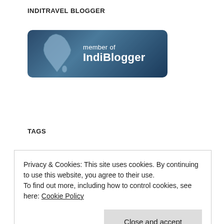INDITRAVEL BLOGGER
[Figure (logo): IndiBlogger member badge — dark blue rounded rectangle with India map silhouette and text 'member of IndiBlogger']
TAGS
Badrinath Bangalore Darjeeling Goa Gokarna Hampi Himalayas Incredible India India Karnataka Kerala Kumarakom Ladakh Mountains Mumbai Nepal Photography
Privacy & Cookies: This site uses cookies. By continuing to use this website, you agree to their use.
To find out more, including how to control cookies, see here: Cookie Policy
Close and accept